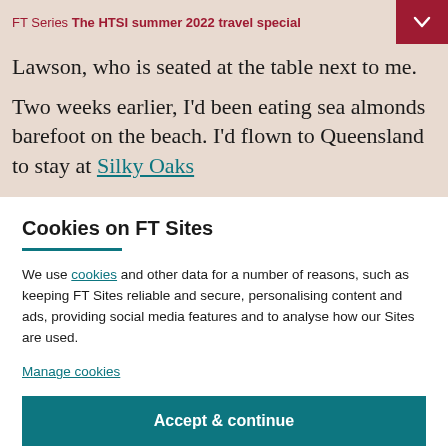FT Series The HTSI summer 2022 travel special
Lawson, who is seated at the table next to me.
Two weeks earlier, I'd been eating sea almonds barefoot on the beach. I'd flown to Queensland to stay at Silky Oaks
Cookies on FT Sites
We use cookies and other data for a number of reasons, such as keeping FT Sites reliable and secure, personalising content and ads, providing social media features and to analyse how our Sites are used.
Manage cookies
Accept & continue